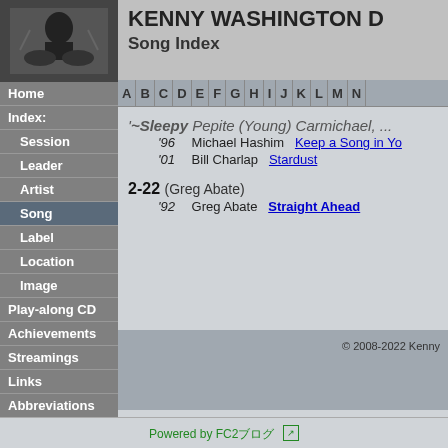[Figure (photo): Black and white photo of Kenny Washington playing drums]
KENNY WASHINGTON D
Song Index
Home
Index:
Session
Leader
Artist
Song
Label
Location
Image
Play-along CD
Achievements
Streamings
Links
Abbreviations
Sitemap
A B C D E F G H I J K L M N
'96  Michael Hashim   Keep a Song in Yo
'01  Bill Charlap   Stardust
2-22 (Greg Abate)
'92  Greg Abate   Straight Ahead
© 2008-2022 Kenny
Powered by FC2ブログ